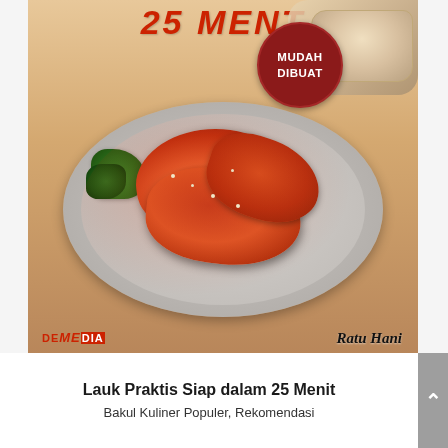[Figure (photo): Book cover of 'Lauk Praktis Siap dalam 25 Menit' showing glazed fried chicken wings on a plate with garnish, a dark red badge saying 'MUDAH DIBUAT', publisher logo 'DEMEDIA', and author name 'Ratu Hani']
Lauk Praktis Siap dalam 25 Menit
Bakul Kuliner Populer, Rekomendasi